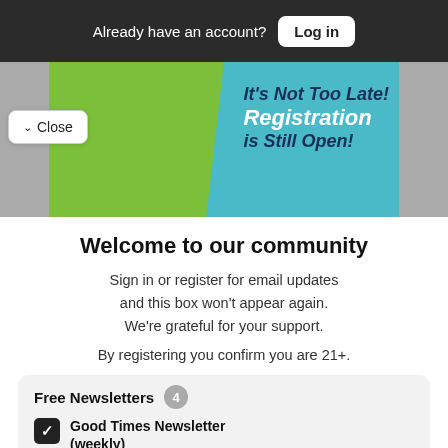Already have an account? Log in
[Figure (photo): Banner image showing a young woman with text: It's Not Too Late! Registration is Still Open!]
Close
Welcome to our community
Sign in or register for email updates and this box won't appear again. We're grateful for your support.
By registering you confirm you are 21+.
Free Newsletters 4
Good Times Newsletter (weekly) - News stories, arts and dining